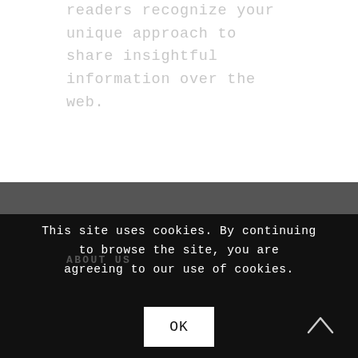readers recognize your unique approach to share insightful information over the web.
This site uses cookies. By continuing to browse the site, you are agreeing to our use of cookies.
OK
ABOUT US